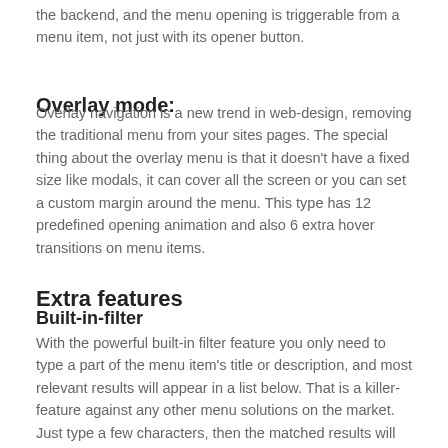the backend, and the menu opening is triggerable from a menu item, not just with its opener button.
Overlay mode:
Overlay navigation is a new trend in web-design, removing the traditional menu from your sites pages. The special thing about the overlay menu is that it doesn't have a fixed size like modals, it can cover all the screen or you can set a custom margin around the menu. This type has 12 predefined opening animation and also 6 extra hover transitions on menu items.
Extra features
Built-in-filter
With the powerful built-in filter feature you only need to type a part of the menu item's title or description, and most relevant results will appear in a list below. That is a killer-feature against any other menu solutions on the market. Just type a few characters, then the matched results will